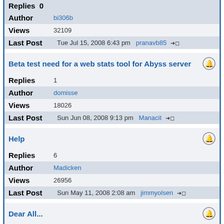Replies  0
Author  bi306b
Views  32109
Last Post  Tue Jul 15, 2008 6:43 pm  pranavb85
Beta test need for a web stats tool for Abyss server
Replies  1
Author  domisse
Views  18026
Last Post  Sun Jun 08, 2008 9:13 pm  Manacit
Help
Replies  6
Author  Madicken
Views  26956
Last Post  Sun May 11, 2008 2:08 am  jimmyolsen
Dear All...
Replies  1
Author  shidlingayya
Views  18339
Last Post  Wed Apr 30, 2008 2:37 pm  aprelium